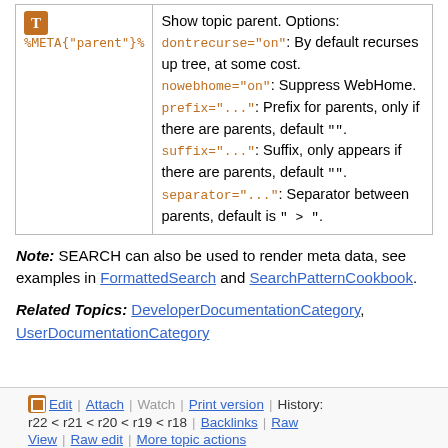| Syntax | Description |
| --- | --- |
| %META{"parent"}% | Show topic parent. Options: dontrecurse="on": By default recurses up tree, at some cost. nowebhome="on": Suppress WebHome. prefix="...": Prefix for parents, only if there are parents, default "". suffix="...": Suffix, only appears if there are parents, default "". separator="...": Separator between parents, default is " > ". |
Note: SEARCH can also be used to render meta data, see examples in FormattedSearch and SearchPatternCookbook.
Related Topics: DeveloperDocumentationCategory, UserDocumentationCategory
Edit | Attach | Watch | Print version | History: r22 < r21 < r20 < r19 < r18 | Backlinks | Raw View | Raw edit | More topic actions